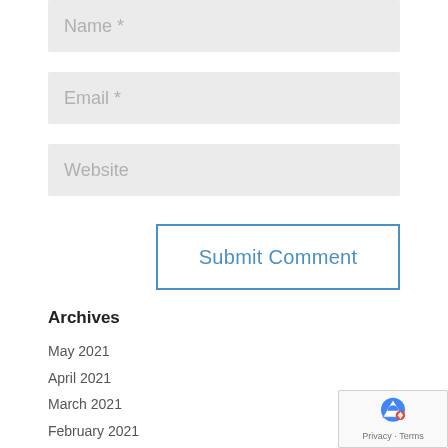Name *
Email *
Website
Submit Comment
Archives
May 2021
April 2021
March 2021
February 2021
January 2021
[Figure (other): reCAPTCHA badge with logo and Privacy - Terms text]